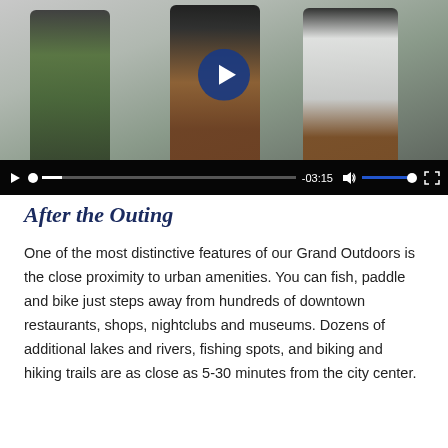[Figure (screenshot): Video player showing people snowboarding or skating outdoors in winter gear. A play button overlay appears in the center. Video controls at the bottom show a play icon, progress bar, time display '-03:15', speaker icon, volume bar, and fullscreen icon.]
After the Outing
One of the most distinctive features of our Grand Outdoors is the close proximity to urban amenities. You can fish, paddle and bike just steps away from hundreds of downtown restaurants, shops, nightclubs and museums. Dozens of additional lakes and rivers, fishing spots, and biking and hiking trails are as close as 5-30 minutes from the city center.